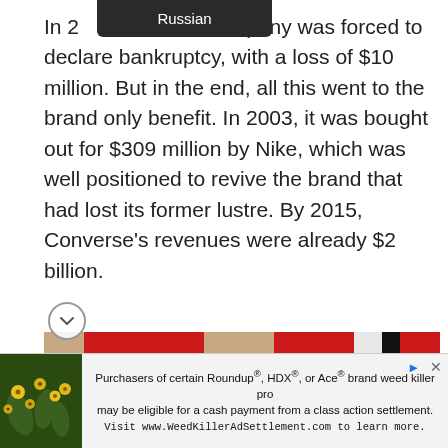In 2... Russian ...ompany was forced to declare bankruptcy, with a loss of $10 million. But in the end, all this went to the brand only benefit. In 2003, it was bought out for $309 million by Nike, which was well positioned to revive the brand that had lost its former lustre. By 2015, Converse's revenues were already $2 billion.
[Figure (photo): Close-up photo of a person's lower legs wearing red athletic shorts, white socks, and dark sneakers against a beige/tan background]
Purchasers of certain Roundup®, HDX®, or Ace® brand weed killer pro... may be eligible for a cash payment from a class action settlement. Visit www.WeedKillerAdSettlement.com to learn more.